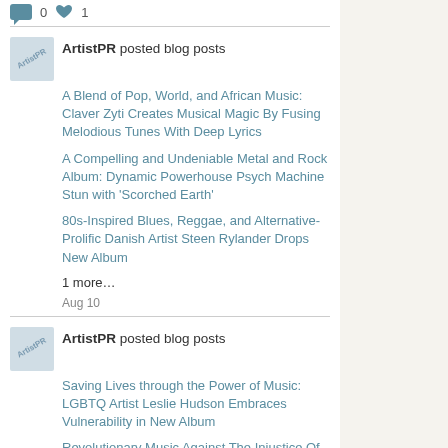0  1
ArtistPR posted blog posts
A Blend of Pop, World, and African Music: Claver Zyti Creates Musical Magic By Fusing Melodious Tunes With Deep Lyrics
A Compelling and Undeniable Metal and Rock Album: Dynamic Powerhouse Psych Machine Stun with 'Scorched Earth'
80s-Inspired Blues, Reggae, and Alternative- Prolific Danish Artist Steen Rylander Drops New Album
1 more…
Aug 10
ArtistPR posted blog posts
Saving Lives through the Power of Music: LGBTQ Artist Leslie Hudson Embraces Vulnerability in New Album
Revolutionary Music Against The Injustice Of Our Times: Modern Natives Release A Hit New Single That Inspires Introspection.
Aug 8
Tychicus C Jones updated their profile
Aug 6